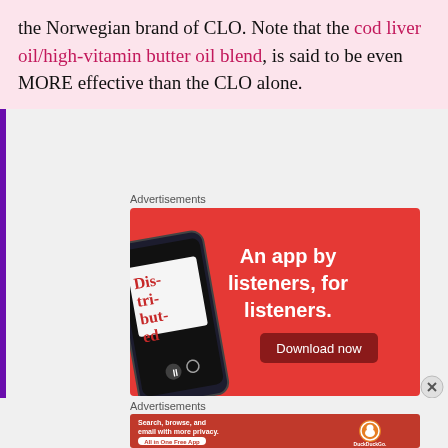the Norwegian brand of CLO. Note that the cod liver oil/high-vitamin butter oil blend, is said to be even MORE effective than the CLO alone.
Advertisements
[Figure (screenshot): Red advertisement banner for a podcast app showing 'An app by listeners, for listeners.' with a phone mockup showing a podcast player and a 'Download now' button.]
Advertisements
[Figure (screenshot): Orange-red advertisement for DuckDuckGo showing 'Search, browse, and email with more privacy. All in One Free App' with DuckDuckGo logo and phone mockup.]